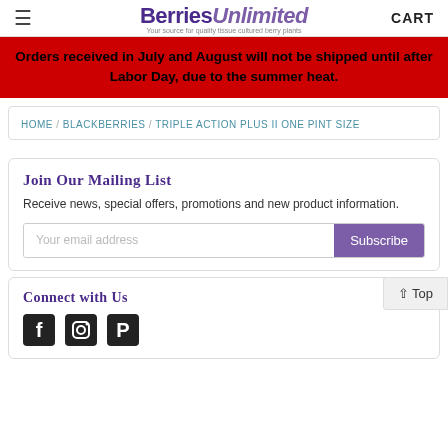Berries Unlimited — Your source for quality tissue cultured berry plants | CART
Orders received in July and August will not be shipped until after Labor Day, due to the summer heat.
HOME / BLACKBERRIES / TRIPLE ACTION PLUS II ONE PINT SIZE
Join Our Mailing List
Receive news, special offers, promotions and new product information.
Your email address
Subscribe
^ Top
Connect with Us